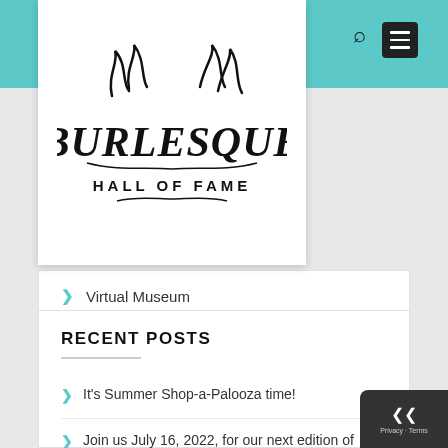[Figure (logo): Burlesque Hall of Fame logo — decorative black text with flourishes reading BURLESQUE HALL OF FAME]
Virtual Museum
Who's Who in Burly-Q
RECENT POSTS
It's Summer Shop-a-Palooza time!
Join us July 16, 2022, for our next edition of 'TEASE: A Burlesque Revue'